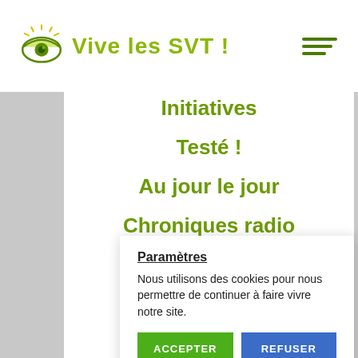Vive les SVT!
Initiatives
Testé !
Au jour le jour
Chroniques radio
SOS Exposés
Paramètres
Nous utilisons des cookies pour nous permettre de continuer à faire vivre notre site.
ACCEPTER
REFUSER